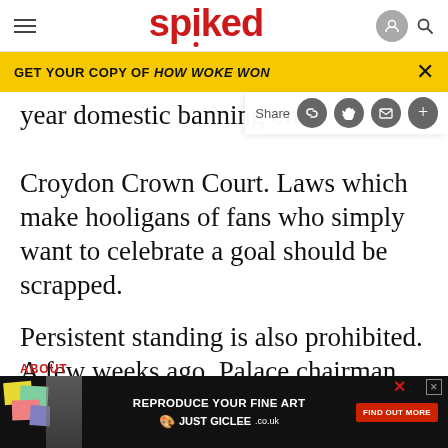spiked
GET YOUR COPY OF HOW WOKE WON
year domestic banning order wa… Croydon Crown Court. Laws which make hooligans of fans who simply want to celebrate a goal should be scrapped.
Persistent standing is also prohibited. A few weeks ago, Palace chairman Simon Jordan broadcast an appeal to fans, over the giant TV screen, urging them to stay seated throughout the game. Croydon Council has threatened to withdraw the safety licence…
ABOUT
[Figure (screenshot): Advertisement banner: REPRODUCE YOUR FINE ART JUST GICLEE.co.uk with FIND OUT MORE button]